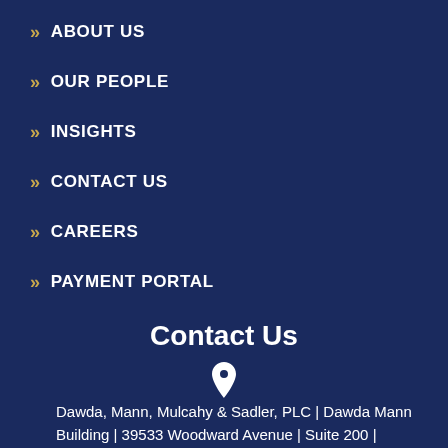ABOUT US
OUR PEOPLE
INSIGHTS
CONTACT US
CAREERS
PAYMENT PORTAL
Contact Us
Dawda, Mann, Mulcahy & Sadler, PLC | Dawda Mann Building | 39533 Woodward Avenue | Suite 200 | Bloomfield Hills | Michigan | 48304-5103